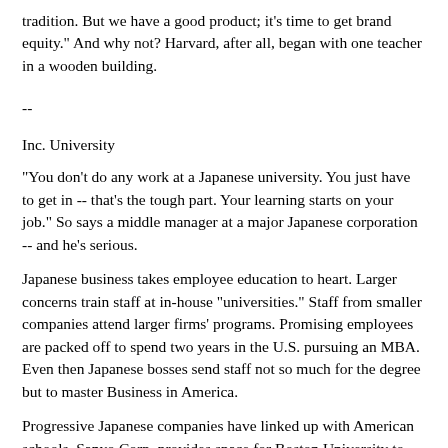tradition. But we have a good product; it's time to get brand equity." And why not? Harvard, after all, began with one teacher in a wooden building.
--
Inc. University
"You don't do any work at a Japanese university. You just have to get in -- that's the tough part. Your learning starts on your job." So says a middle manager at a major Japanese corporation -- and he's serious.
Japanese business takes employee education to heart. Larger concerns train staff at in-house "universities." Staff from smaller companies attend larger firms' programs. Promising employees are packed off to spend two years in the U.S. pursuing an MBA. Even then Japanese bosses send staff not so much for the degree but to master Business in America.
Progressive Japanese companies have linked up with American schools. Sanyo Corp. provides space for Boston University to run its three-month international management program in Kobe each year. Students complete six of the required 16 courses in Kobe